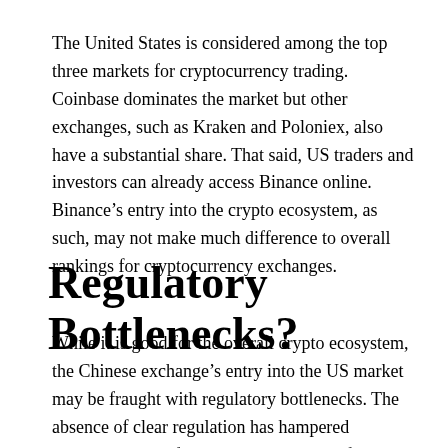The United States is considered among the top three markets for cryptocurrency trading. Coinbase dominates the market but other exchanges, such as Kraken and Poloniex, also have a substantial share. That said, US traders and investors can already access Binance online. Binance's entry into the crypto ecosystem, as such, may not make much difference to overall rankings for cryptocurrency exchanges.
Regulatory Bottlenecks?
While it is good for the overall crypto ecosystem, the Chinese exchange's entry into the US market may be fraught with regulatory bottlenecks. The absence of clear regulation has hampered expansion and inflated operational costs for most cryptocurrency exchanges operating in the country.